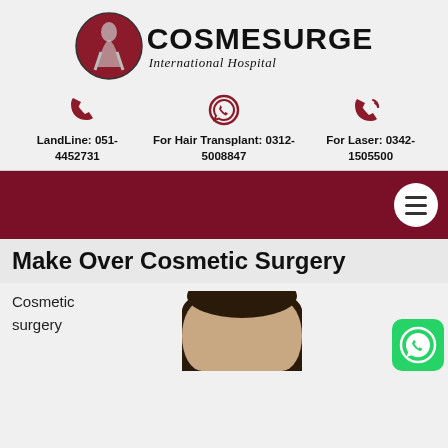[Figure (logo): Cosmesurge International Hospital logo with dark red circle containing silhouette figure and bold text COSMESURGE with italic subtitle International Hospital]
[Figure (infographic): Three contact icons row: telephone handset (dark red), WhatsApp logo (dark red outline), telephone with signal waves (dark red)]
LandLine: 051-4452731
For Hair Transplant: 0312-5008847
For Laser: 0342-1505500
[Figure (other): Dark red/maroon navigation bar with white circular hamburger menu button on the right]
Make Over Cosmetic Surgery
Cosmetic surgery
[Figure (photo): Partial photo of a woman's head showing dark hair, cropped, on light background]
[Figure (logo): Green WhatsApp floating button icon in bottom right corner]